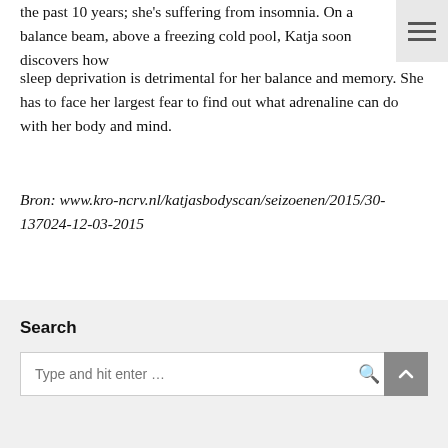the past 10 years; she's suffering from insomnia. On a balance beam, above a freezing cold pool, Katja soon discovers how sleep deprivation is detrimental for her balance and memory. She has to face her largest fear to find out what adrenaline can do with her body and mind.
Bron: www.kro-ncrv.nl/katjasbodyscan/seizoenen/2015/30-137024-12-03-2015
Slaaptekort
Search